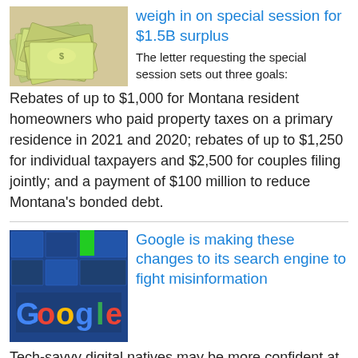[Figure (photo): Pile of US dollar bills (cash/money)]
weigh in on special session for $1.5B surplus
The letter requesting the special session sets out three goals: Rebates of up to $1,000 for Montana resident homeowners who paid property taxes on a primary residence in 2021 and 2020; rebates of up to $1,250 for individual taxpayers and $2,500 for couples filing jointly; and a payment of $100 million to reduce Montana's bonded debt.
[Figure (photo): Google logo sign on a building with blue glass facade]
Google is making these changes to its search engine to fight misinformation
Tech-savvy digital natives may be more confident at the keyboard, but a broad swath of people across generations and continents — around two thirds — said